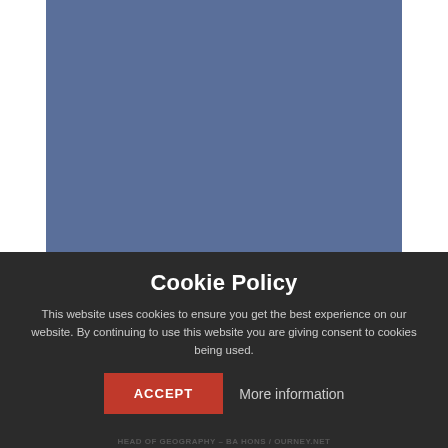[Figure (illustration): Blue-grey rectangular background area in the upper portion of the page]
Cookie Policy
This website uses cookies to ensure you get the best experience on our website. By continuing to use this website you are giving consent to cookies being used.
ACCEPT   More information
HEAD OF GEOGRAPHY - BA HONS / OURNEY.NET